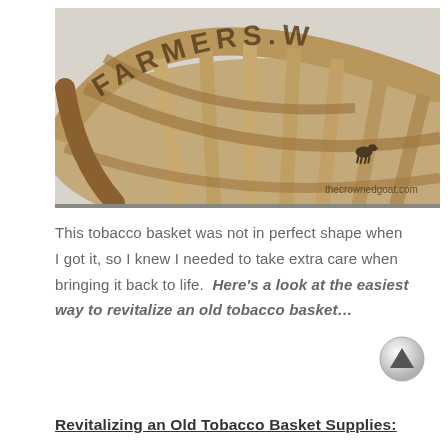[Figure (photo): A close-up photo of an old wooden tobacco basket with woven slats. Text 'FARMERS W' is stenciled along the curved top rim. A small goat silhouette logo and watermark 'thecrownedgoat.com' appear in the lower right corner.]
This tobacco basket was not in perfect shape when I got it, so I knew I needed to take extra care when bringing it back to life.  Here's a look at the easiest way to revitalize an old tobacco basket…
Revitalizing an Old Tobacco Basket Supplies: